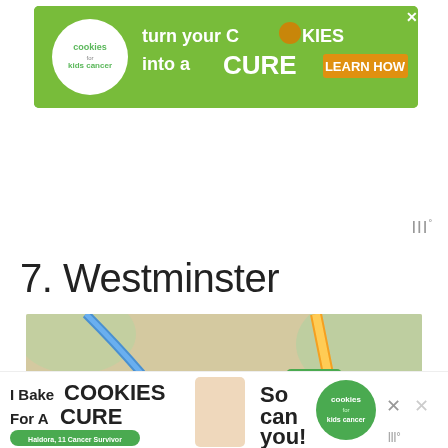[Figure (infographic): Green advertisement banner for Cookies for Kids Cancer: 'turn your COOKIES into a CURE LEARN HOW' with cookies logo on left and close button]
7. Westminster
[Figure (map): Close-up photograph of a road map showing Westminster and Inniswold areas with colored roads (blue, orange, yellow, pink), route markers including 160 and A-B, and location label 'Westminster' prominently in the center]
[Figure (infographic): Bottom advertisement banner for Cookies for Kids Cancer: 'I Bake COOKIES For A CURE - Haldora, 11 Cancer Survivor' 'So can you!' with cookies for kids cancer logo]